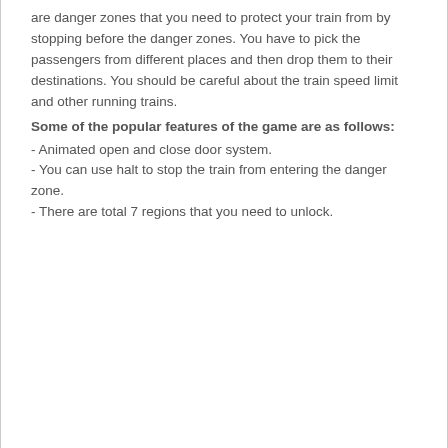are danger zones that you need to protect your train from by stopping before the danger zones. You have to pick the passengers from different places and then drop them to their destinations. You should be careful about the train speed limit and other running trains.
Some of the popular features of the game are as follows:
- Animated open and close door system.
- You can use halt to stop the train from entering the danger zone.
- There are total 7 regions that you need to unlock.